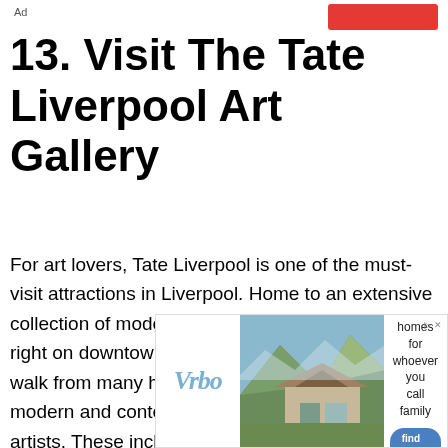Ad
13. Visit The Tate Liverpool Art Gallery
For art lovers, Tate Liverpool is one of the must-visit attractions in Liverpool. Home to an extensive collection of modern art, Tate Liverpool is located right on downtown's waterfront and is only a short walk from many hotels. The gallery houses modern and contemporary works by international artists. These include Picasso's Family of Saltimbanques (1905), Matisse's painting of his wife Le
[Figure (other): Vrbo advertisement banner showing a mountain vacation home with tagline 'Vacation homes for whoever you call family' and a blue 'find yours' button]